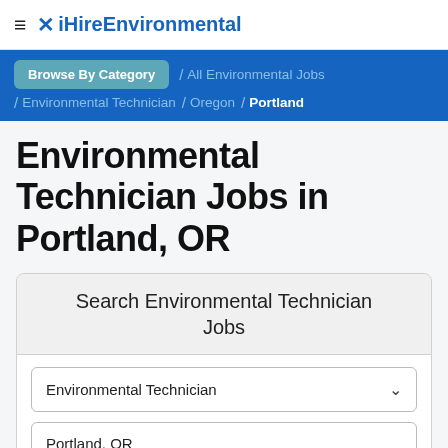≡ ✕ iHireEnvironmental
Browse By Category / All Environmental Jobs / Environmental Technician / Oregon / Portland
Environmental Technician Jobs in Portland, OR
Search Environmental Technician Jobs
Environmental Technician
Portland, OR